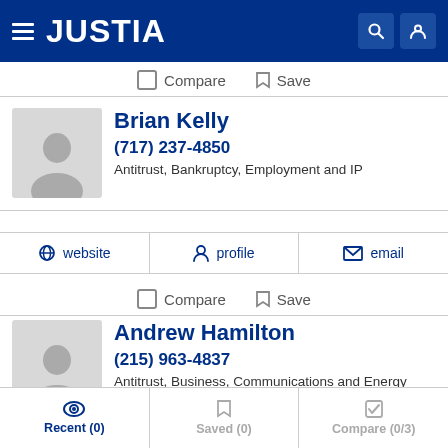JUSTIA
Compare  Save
Brian Kelly
(717) 237-4850
Antitrust, Bankruptcy, Employment and IP
website  profile  email
Compare  Save
Andrew Hamilton
(215) 963-4837
Antitrust, Business, Communications and Energy
Recent (0)  Saved (0)  Compare (0/3)